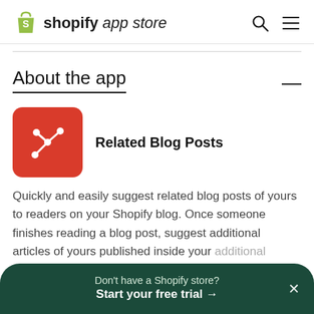shopify app store
About the app
[Figure (logo): Related Blog Posts app icon — red rounded square with white node/graph icon]
Related Blog Posts
Quickly and easily suggest related blog posts of yours to readers on your Shopify blog. Once someone finishes reading a blog post, suggest additional articles of yours published inside your
Don't have a Shopify store? Start your free trial →